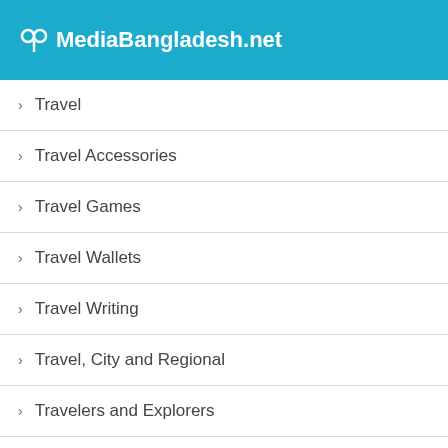MediaBangladesh.net
Travel
Travel Accessories
Travel Games
Travel Wallets
Travel Writing
Travel, City and Regional
Travelers and Explorers
Trees
Tribology
Trim and Embellishments